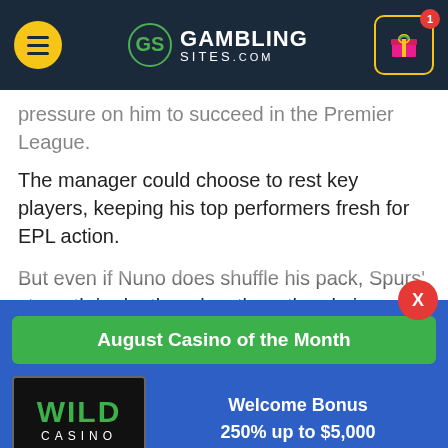GamblingSites.com header with menu, logo, and gift icon
pressure on him to succeed in the Premier League.
The manager could choose to rest key players, keeping his top performers fresh for EPL action.
But even if Nuno does shuffle his pack, Spurs' strength in depth makes them the obvious favorite for the title.
[Figure (infographic): August Casino of the Month advertisement panel for Wild Casino showing Welcome Bonus 250% up to $5,000 and VISIT SITE button]
August Casino of the Month
Welcome Bonus
250% up to $5,000
VISIT SITE ▶